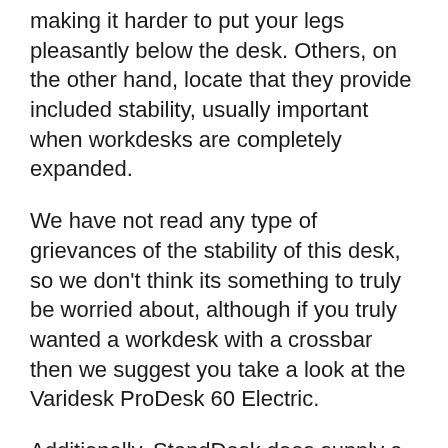making it harder to put your legs pleasantly below the desk. Others, on the other hand, locate that they provide included stability, usually important when workdesks are completely expanded.
We have not read any type of grievances of the stability of this desk, so we don't think its something to truly be worried about, although if you truly wanted a workdesk with a crossbar then we suggest you take a look at the Varidesk ProDesk 60 Electric.
Additionally, StandDesk does supply a separate add-on crossbar that you can include in the desk on your own, just for an added $49.95.